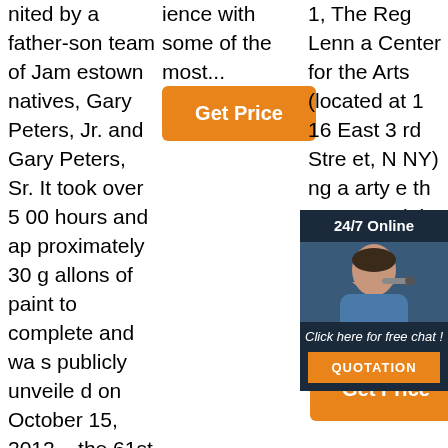nited by a father-son team of Jamestown natives, Gary Peters, Jr. and Gary Peters, Sr. It took over 500 hours and approximately 30 gallons of paint to complete and was publicly unveiled on October 15, 2012 – the 61st anniversary of I Love Lucy's debut. The artwork shows Lucy, Rick
ience with some of the most...
[Figure (other): Orange 'Get Price' button]
1, The Reg Lenna Center for the Arts (located at 116 East 3 rd Street, NY) ng arty e th 7:30 ink es or guests on site.
[Figure (other): Chat widget with 24/7 Online header, photo of woman with headset, 'Click here for free chat!' text, and QUOTATION button]
[Figure (other): Orange 'Get Price' button with trophy icon overlay]